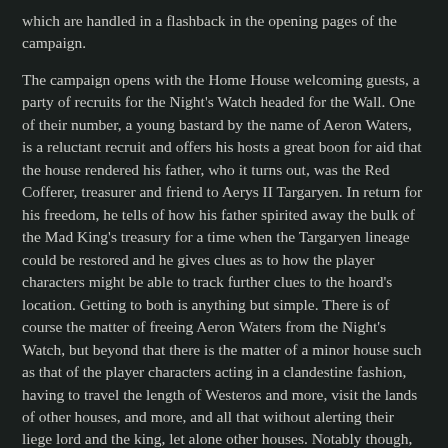which are handled in a flashback in the opening pages of the campaign.
The campaign opens with the Home House welcoming guests, a party of recruits for the Night's Watch headed for the Wall. One of their number, a young bastard by the name of Aeron Waters, is a reluctant recruit and offers his hosts a great boon for aid that the house rendered his father, who it turns out, was the Red Cofferer, treasurer and friend to Aerys II Targaryen. In return for his freedom, he tells of how his father spirited away the bulk of the Mad King's treasury for a time when the Targaryen lineage could be restored and he gives clues as to how the player characters might be able to track further clues to the hoard's location. Getting to both is anything but simple. There is of course the matter of freeing Aeron Waters from the Night's Watch, but beyond that there is the matter of a minor house such as that of the player characters acting in a clandestine fashion, having to travel the length of Westeros and more, visit the lands of other houses, and more, and all that without alerting their liege lord and the king, let alone other houses. Notably though, one other house has learned of the existence of the Dragon's Hoard and will do anything to get hold of Aeron Waters and his information. This includes attacking